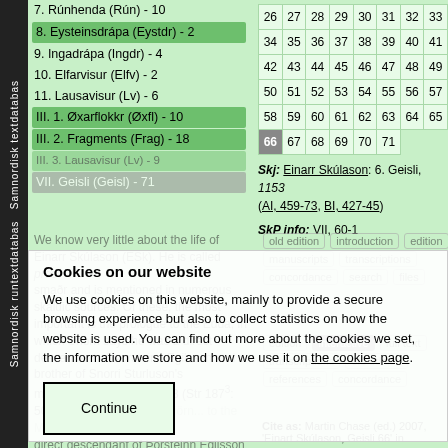Samnordisk runtextdatabas Samnordisk textdatabas
7. Rúnhenda (Rún) - 10
8. Eysteinsdrápa (Eystdr) - 2
9. Ingadrápa (Ingdr) - 4
10. Elfarvisur (Elfv) - 2
11. Lausavisur (Lv) - 6
III. 1. Øxarflokkr (Øxfl) - 10
III. 2. Fragments (Frag) - 18
III. 3. Lausavisur (Lv) - 9
VII. Geisli (Geisl) - 71
| 26 | 27 | 28 | 29 | 30 | 31 | 32 | 33 |
| 34 | 35 | 36 | 37 | 38 | 39 | 40 | 41 |
| 42 | 43 | 44 | 45 | 46 | 47 | 48 | 49 |
| 50 | 51 | 52 | 53 | 54 | 55 | 56 | 57 |
| 58 | 59 | 60 | 61 | 62 | 63 | 64 | 65 |
| 66 | 67 | 68 | 69 | 70 | 71 |
Skj: Einarr Skúlason: 6. Geisli, 1153 (AI, 459-73, BI, 427-45)
SkP info: VII, 60-1
We know very little about the life of Einarr Skúlason (ESk). He is called prestsmaðr and is mentioned in numerous skaldic sources. Of these, the most important is the prologue to the Edda, in which Snorri says he was a direct descendant of Þorsteinn Egilsson and a brother of Snorri Sturluson's métier...
old edition introduction edition manuscripts transcriptions concordance search files
edition interactive full text transcriptions old edition references concordance
Cite as: Martin Chase (ed.) 2007, 'Einart Skúlason, Geisli 66' in
Cookies on our website
We use cookies on this website, mainly to provide a secure browsing experience but also to collect statistics on how the website is used. You can find out more about the cookies we set, the information we store and how we use it on the cookies page.
Continue